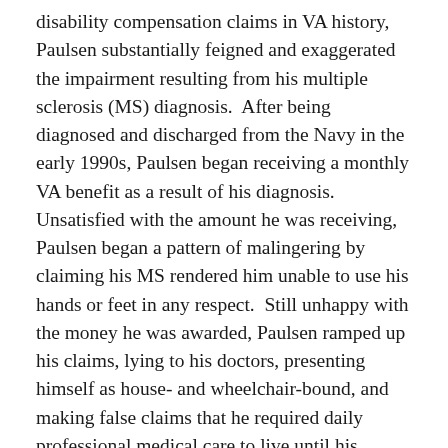disability compensation claims in VA history, Paulsen substantially feigned and exaggerated the impairment resulting from his multiple sclerosis (MS) diagnosis.  After being diagnosed and discharged from the Navy in the early 1990s, Paulsen began receiving a monthly VA benefit as a result of his diagnosis.  Unsatisfied with the amount he was receiving, Paulsen began a pattern of malingering by claiming his MS rendered him unable to use his hands or feet in any respect.  Still unhappy with the money he was awarded, Paulsen ramped up his claims, lying to his doctors, presenting himself as house- and wheelchair-bound, and making false claims that he required daily professional medical care to live until his benefits were increased to the maximum disability payments available to a Veteran.
At the same time, Paulsen used the same feigned impairments to convince the Social Security